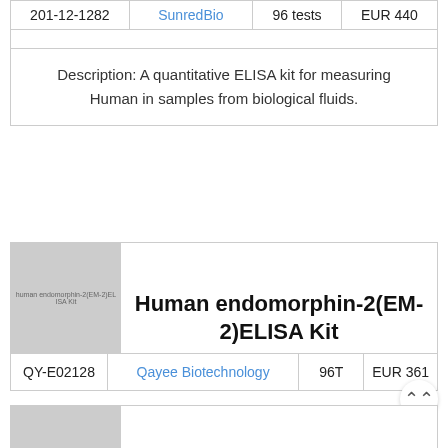| 201-12-1282 | SunredBio | 96 tests | EUR 440 |
| --- | --- | --- | --- |
Description: A quantitative ELISA kit for measuring Human in samples from biological fluids.
[Figure (photo): Product image placeholder for Human endomorphin-2(EM-2) ELISA Kit]
Human endomorphin-2(EM-2)ELISA Kit
| QY-E02128 | Qayee Biotechnology | 96T | EUR 361 |
| --- | --- | --- | --- |